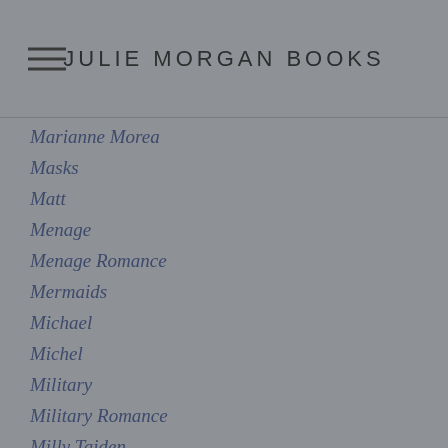JULIE MORGAN BOOKS
Marianne Morea
Masks
Matt
Menage
Menage Romance
Mermaids
Michael
Michel
Military
Military Romance
Milly Taiden
Miranda
Misadventures
Misadventures With A Firefighter
Misadventures With A Lawyer
My Dirty Little Valentine
Nanowrimo